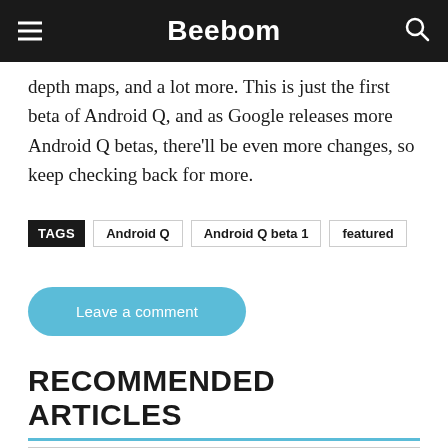Beebom
depth maps, and a lot more. This is just the first beta of Android Q, and as Google releases more Android Q betas, there'll be even more changes, so keep checking back for more.
TAGS  Android Q  Android Q beta 1  featured
Leave a comment
RECOMMENDED ARTICLES